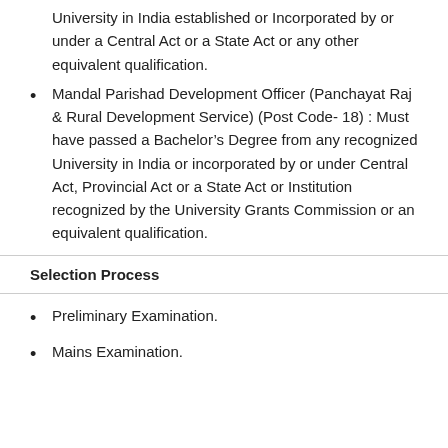University in India established or Incorporated by or under a Central Act or a State Act or any other equivalent qualification.
Mandal Parishad Development Officer (Panchayat Raj & Rural Development Service) (Post Code- 18) : Must have passed a Bachelor’s Degree from any recognized University in India or incorporated by or under Central Act, Provincial Act or a State Act or Institution recognized by the University Grants Commission or an equivalent qualification.
Selection Process
Preliminary Examination.
Mains Examination.